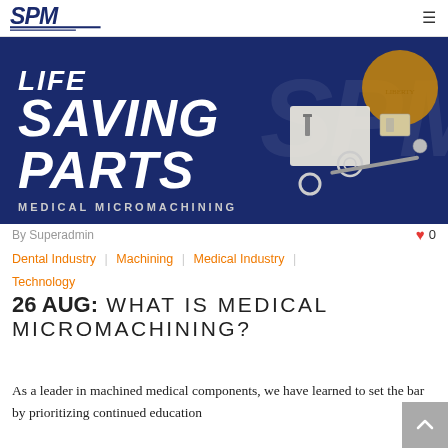SPM — Life Saving Parts Medical Micromachining
[Figure (photo): Hero banner image with large bold italic text 'LIFE SAVING PARTS' and 'MEDICAL MICROMACHINING' on dark navy background, alongside photos of small precision medical components including screws, washers, gears, and a coin for scale.]
By Superadmin
♥ 0
Dental Industry | Machining | Medical Industry | Technology
26 AUG: WHAT IS MEDICAL MICROMACHINING?
As a leader in machined medical components, we have learned to set the bar by prioritizing continued education